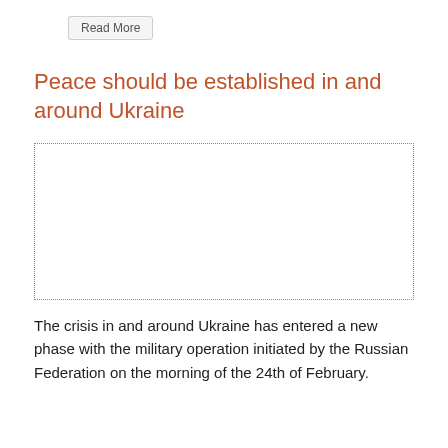Read More
Peace should be established in and around Ukraine
[Figure (other): Empty dotted-border image placeholder rectangle]
The crisis in and around Ukraine has entered a new phase with the military operation initiated by the Russian Federation on the morning of the 24th of February.